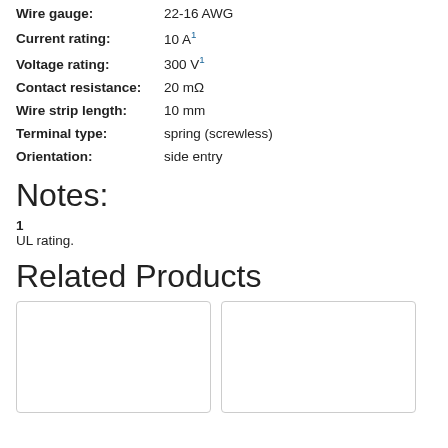Wire gauge: 22-16 AWG
Current rating: 10 A¹
Voltage rating: 300 V¹
Contact resistance: 20 mΩ
Wire strip length: 10 mm
Terminal type: spring (screwless)
Orientation: side entry
Notes:
1
UL rating.
Related Products
[Figure (other): Two product card placeholders (empty white boxes with border)]